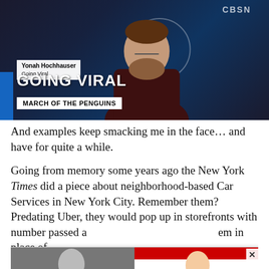[Figure (screenshot): Video screenshot of a news segment titled 'GOING VIRAL - MARCH OF THE PENGUINS' with anchor Yonah Hochhauser on a dark studio background]
And examples keep smacking me in the face… and have for quite a while.
Going from memory some years ago the New York Times did a piece about neighborhood-based Car Services in New York City. Remember them? Predating Uber, they would pop up in storefronts with number passed a [ad overlay] em in place of licensed [ad overlay] s of the city. One [ad overlay] ause I
[Figure (screenshot): Two advertisement overlays: left shows 'A Tragic End Today For Willie Nelson - Breaking News', right shows 'Dems Raid Mar-A-Lago when They Should b... - Infected', with an X close button]